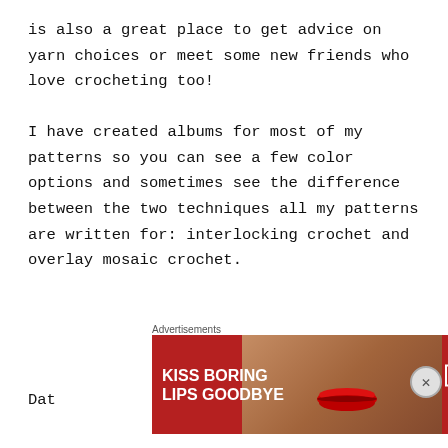is also a great place to get advice on yarn choices or meet some new friends who love crocheting too!

I have created albums for most of my patterns so you can see a few color options and sometimes see the difference between the two techniques all my patterns are written for: interlocking crochet and overlay mosaic crochet.
Dat...
Advertisements
[Figure (infographic): Macy's advertisement banner reading 'KISS BORING LIPS GOODBYE' with a SHOP NOW button and Macy's logo, showing a woman's face with red lips on a dark red background.]